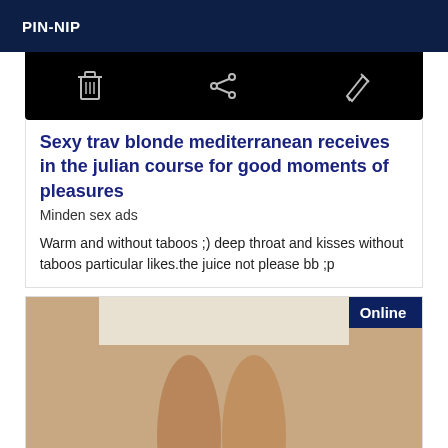PIN-NIP
[Figure (screenshot): Dark toolbar with trash/delete icon, share icon, and pencil/edit icon on black background]
Sexy trav blonde mediterranean receives in the julian course for good moments of pleasures
Minden sex ads
Warm and without taboos ;) deep throat and kisses without taboos particular likes.the juice not please bb ;p
[Figure (photo): Photo showing tanned legs with high heels. Online badge in top right corner.]